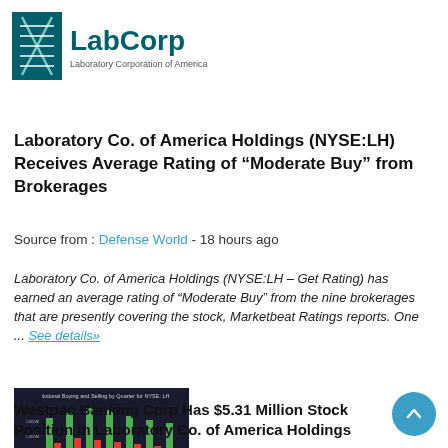[Figure (logo): LabCorp – Laboratory Corporation of America logo with teal/dark teal text and DNA helix icon]
Laboratory Co. of America Holdings (NYSE:LH) Receives Average Rating of “Moderate Buy” from Brokerages
Source from : Defense World - 18 hours ago
Laboratory Co. of America Holdings (NYSE:LH – Get Rating) has earned an average rating of “Moderate Buy” from the nine brokerages that are presently covering the stock, Marketbeat Ratings reports. One ... See details»
[Figure (bar-chart): Institutional Buying and Selling by Quarter for NYSE: LH – grouped bar chart with green and red bars]
Westpac Banking Corp Has $5.31 Million Stock Position in Laboratory Co. of America Holdings